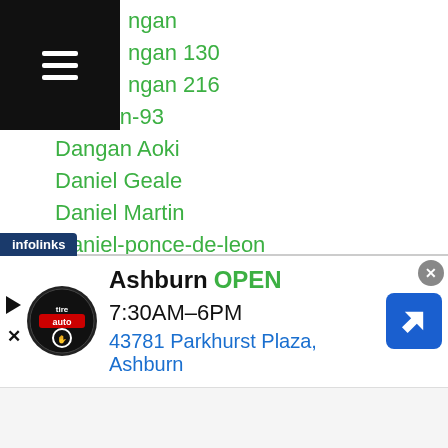ngan
ngan 130
ngan 216
Dangan-93
Dangan Aoki
Daniel Geale
Daniel Martin
Daniel-ponce-de-leon
Danila Semenov
Daniyar Yeleussinov
Danrick Sumabong
Dante-jardon
Dante Jordan
Dastan Saduuly
Dat Nguyen
Daud Cino Yordan
infolinks
Ashburn  OPEN  7:30AM–6PM  43781 Parkhurst Plaza, Ashburn